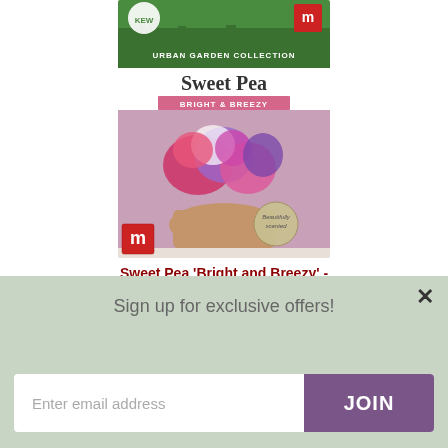[Figure (photo): Seed packet for Sweet Pea 'Bright and Breezy' - Kew Urban Garden Collection. Green header with Kew Royal Botanic Gardens logo and Thompson & Morgan logo. Person holding a bouquet of colorful sweet pea flowers. 'Beautifully scented' seal. Small Thompson & Morgan logo bottom left.]
Sweet Pea 'Bright and Breezy' - Kew Collection Seeds
[Figure (infographic): Five orange/gold star rating icons]
3 Reviews
Sign up for exclusive offers!
Enter email address
JOIN